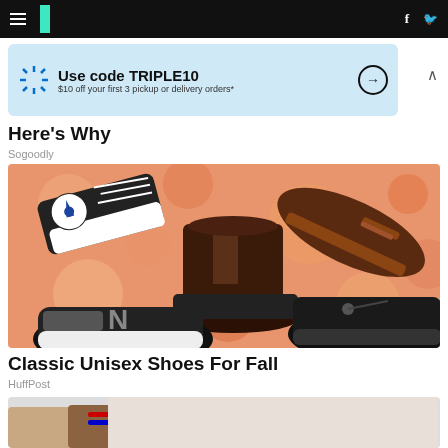HuffPost navigation with hamburger menu, logo, Facebook and Twitter icons
[Figure (screenshot): Walmart ad banner: Use code TRIPLE10, $10 off your first 3 pickup or delivery orders*]
Here's Why
Sogoodly
[Figure (photo): Collage of classic unisex shoes on orange bokeh background: Converse Chuck Taylor high-top, Blundstone chelsea boot, Birkenstock clog, New Balance 574 sneaker, Clarks Wallabee boot]
Classic Unisex Shoes For Fall
HuffPost
[Figure (photo): Partial photo of hands and wallet at bottom of page]